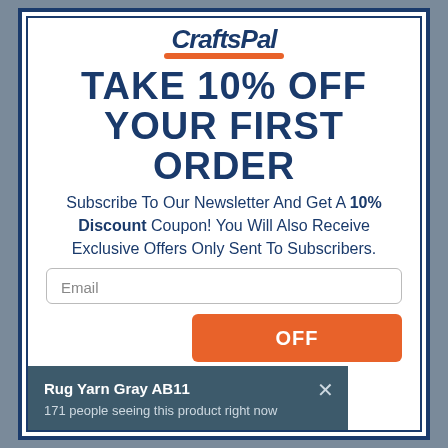[Figure (logo): CraftsPal logo with orange underline swoosh]
TAKE 10% OFF YOUR FIRST ORDER
Subscribe To Our Newsletter And Get A 10% Discount Coupon! You Will Also Receive Exclusive Offers Only Sent To Subscribers.
Email
OFF
Rug Yarn Gray AB11
171 people seeing this product right now